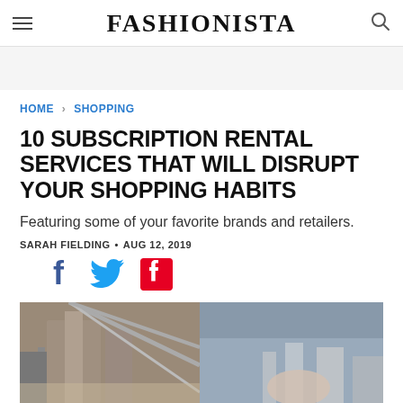FASHIONISTA
HOME > SHOPPING
10 SUBSCRIPTION RENTAL SERVICES THAT WILL DISRUPT YOUR SHOPPING HABITS
Featuring some of your favorite brands and retailers.
SARAH FIELDING • AUG 12, 2019
[Figure (infographic): Social share icons: Facebook (blue), Twitter (blue), Pinterest (red)]
[Figure (photo): Outdoor photo showing a woman near the Brooklyn Bridge with city skyline in background]